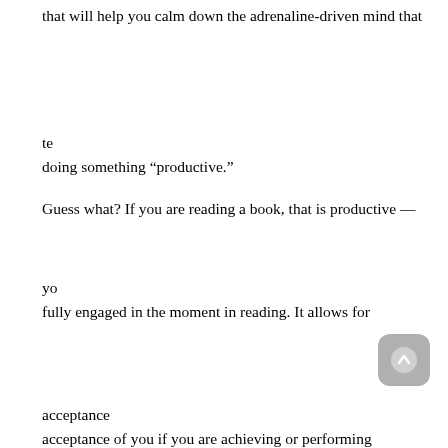that will help you calm down the adrenaline-driven mind that tells you to always be doing something “productive.”
Guess what? If you are reading a book, that is productive — you are being fully engaged in the moment in reading. It allows for acceptance of you, not just acceptance of you if you are achieving or performing something.
Drinking a cup of coffee or tea and doing nothing other than staring is also being productive — you are relaxing and “doing nothing” while being present. It allows for acceptance of you as you are, not just acceptance of you when you are performing something.
These are the mental and spiritual „lessons learned” from doing Parkinsons Recovery® that you carry into your everyday life to help you cure and also to help you live a healthy life after you are cured.
In the last post, I wrote: “When I became cured of Parkinson’s, I stopped using the Recipe because I no longer needed it. However, the mental and spiritual recovery have carried forward for the last nine and a half years.